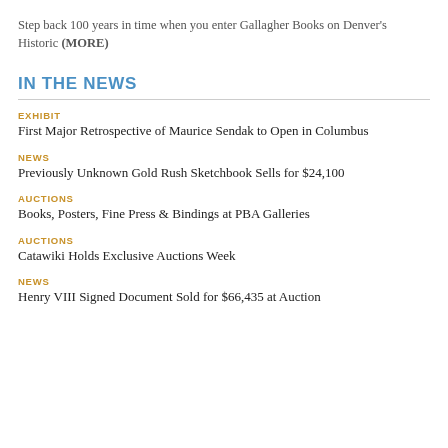Step back 100 years in time when you enter Gallagher Books on Denver's Historic (MORE)
IN THE NEWS
EXHIBIT
First Major Retrospective of Maurice Sendak to Open in Columbus
NEWS
Previously Unknown Gold Rush Sketchbook Sells for $24,100
AUCTIONS
Books, Posters, Fine Press & Bindings at PBA Galleries
AUCTIONS
Catawiki Holds Exclusive Auctions Week
NEWS
Henry VIII Signed Document Sold for $66,435 at Auction